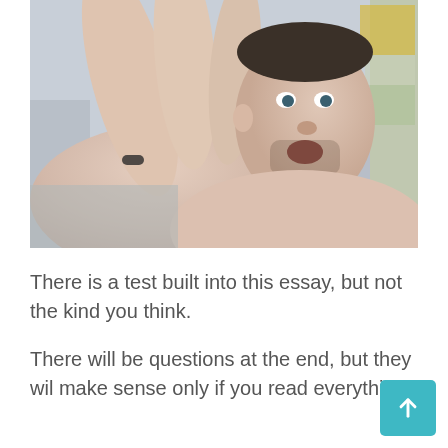[Figure (photo): A man making a gesture with his hand outstretched toward the camera, shirtless, with a distorted perspective close-up view of his hand and face.]
There is a test built into this essay, but not the kind you think.
There will be questions at the end, but they will make sense only if you read everything.